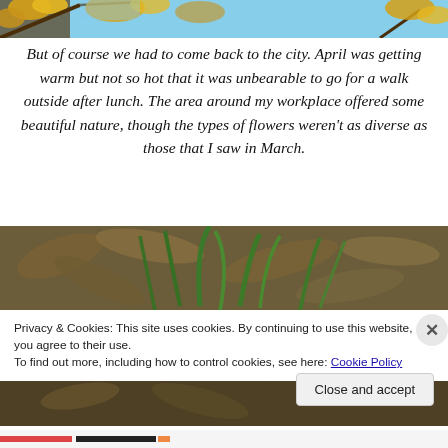[Figure (photo): Partial view of autumn tree branches with yellow-orange leaves against blue sky, cropped to top strip]
But of course we had to come back to the city. April was getting warm but not so hot that it was unbearable to go for a walk outside after lunch. The area around my workplace offered some beautiful nature, though the types of flowers weren't as diverse as those that I saw in March.
[Figure (photo): Close-up photograph of green grass blades growing through dry brown leaves on a granite stone surface]
Privacy & Cookies: This site uses cookies. By continuing to use this website, you agree to their use.
To find out more, including how to control cookies, see here: Cookie Policy

Close and accept